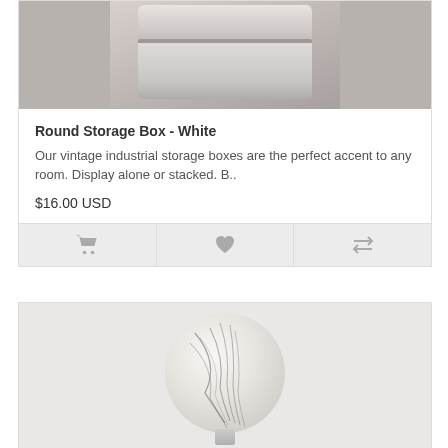[Figure (photo): White round stacked storage box on grey background]
Round Storage Box - White
Our vintage industrial storage boxes are the perfect accent to any room. Display alone or stacked. B..
$16.00 USD
[Figure (photo): Round marbled ceramic or glass ball/dish with black line pattern on white background, shown on a stand]